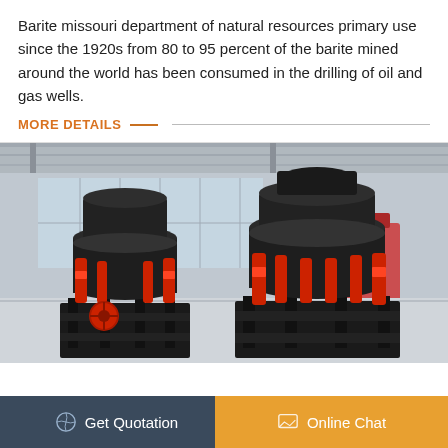Barite missouri department of natural resources primary use since the 1920s from 80 to 95 percent of the barite mined around the world has been consumed in the drilling of oil and gas wells.
MORE DETAILS
[Figure (photo): Industrial factory interior showing two large cone crusher machines with black bodies and red hydraulic cylinders on metal frames, with another machine visible in the background.]
Get Quotation
Online Chat